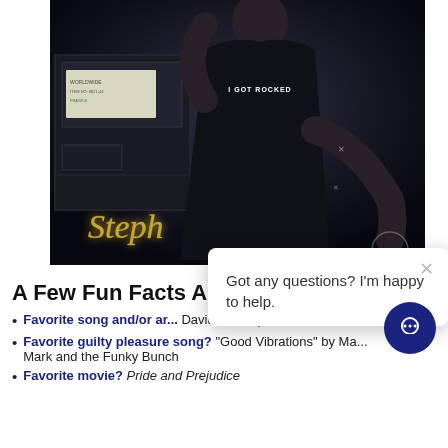[Figure (photo): A person wearing a black 'I GOT ROCKED' t-shirt posing backstage near equipment cases with a neon 'Steph' sign in the background]
A Few Fun Facts A...
Favorite song and/or ar... David Bowie | Artist: Real Estate
Favorite guilty pleasure song? "Good Vibrations" by Ma... Mark and the Funky Bunch
Favorite movie? Pride and Prejudice